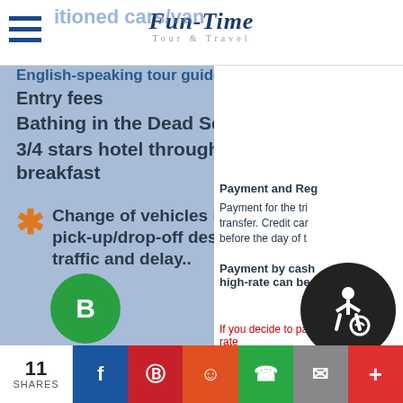Fun-Time Tour & Travel
Border tax betw
English-speaking tour guide
Entry fees
Bathing in the Dead Sea.
3/4 stars hotel throughout the tour including breakfast
* Change of vehicles is required for transfers of pick-up/drop-off destinations to save time, avoid traffic and delay..
Payment and Reg
Payment for the tri
transfer. Credit car
before the day of t
Payment by cash high-rate can be r
If you decide to pa rate
11 SHARES | Facebook | Pinterest | Reddit | WhatsApp | Email | More